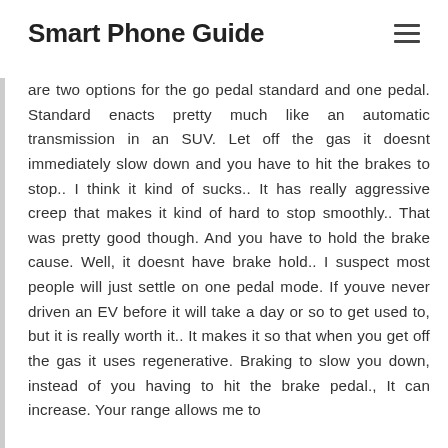Smart Phone Guide
are two options for the go pedal standard and one pedal. Standard enacts pretty much like an automatic transmission in an SUV. Let off the gas it doesnt immediately slow down and you have to hit the brakes to stop.. I think it kind of sucks.. It has really aggressive creep that makes it kind of hard to stop smoothly.. That was pretty good though. And you have to hold the brake cause. Well, it doesnt have brake hold.. I suspect most people will just settle on one pedal mode. If youve never driven an EV before it will take a day or so to get used to, but it is really worth it.. It makes it so that when you get off the gas it uses regenerative. Braking to slow you down, instead of you having to hit the brake pedal., It can increase. Your range allows me to